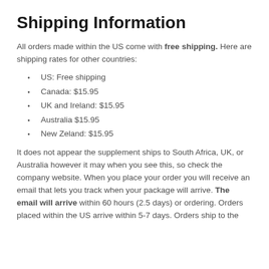Shipping Information
All orders made within the US come with free shipping. Here are shipping rates for other countries:
US: Free shipping
Canada: $15.95
UK and Ireland: $15.95
Australia $15.95
New Zeland: $15.95
It does not appear the supplement ships to South Africa, UK, or Australia however it may when you see this, so check the company website. When you place your order you will receive an email that lets you track when your package will arrive. The email will arrive within 60 hours (2.5 days) or ordering. Orders placed within the US arrive within 5-7 days. Orders ship to the...